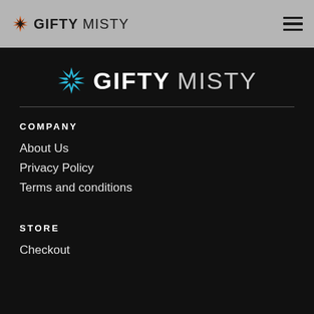GIFTY MISTY (navigation header with hamburger menu)
[Figure (logo): Gifty Misty logo with blue snowflake/star icon, bold white GIFTY and light gray MISTY text, centered on dark background]
COMPANY
About Us
Privacy Policy
Terms and conditions
STORE
Checkout